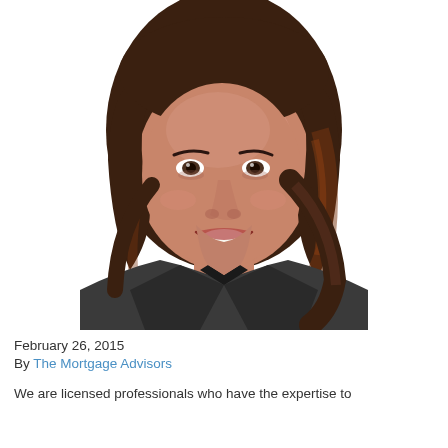[Figure (photo): Professional headshot of a woman with shoulder-length brown wavy hair, wearing a dark gray blazer, smiling, white background]
February 26, 2015
By The Mortgage Advisors
We are licensed professionals who have the expertise to